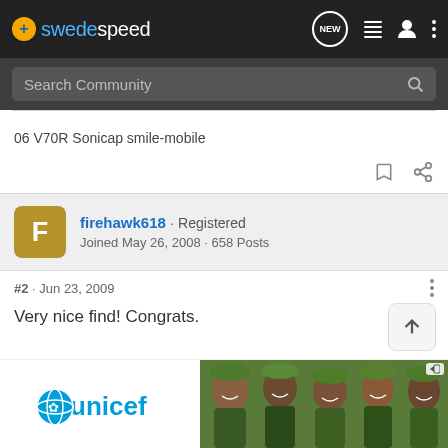swedespeed — NEW (notification icon), list icon, user icon, menu icon
Search Community
06 V70R Sonicap smile-mobile
firehawk618 · Registered
Joined May 26, 2008 · 658 Posts
#2 · Jun 23, 2009
Very nice find! Congrats.
[Figure (photo): UNICEF advertisement banner with logo and photo of smiling children in green hats]